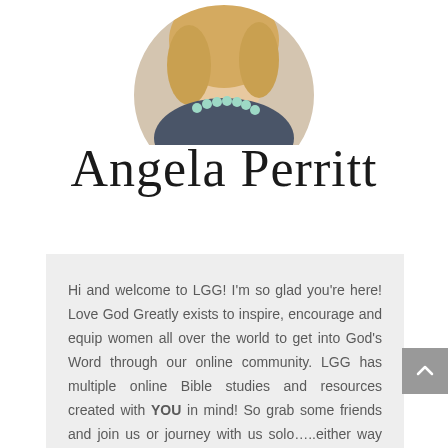[Figure (photo): Circular cropped portrait photo of a blonde woman wearing a dark sweater and teal/mint beaded necklace, cropped at top and bottom edges]
Angela Perritt
Hi and welcome to LGG! I'm so glad you're here! Love God Greatly exists to inspire, encourage and equip women all over the world to get into God's Word through our online community. LGG has multiple online Bible studies and resources created with YOU in mind! So grab some friends and join us or journey with us solo…..either way you are welcome here!